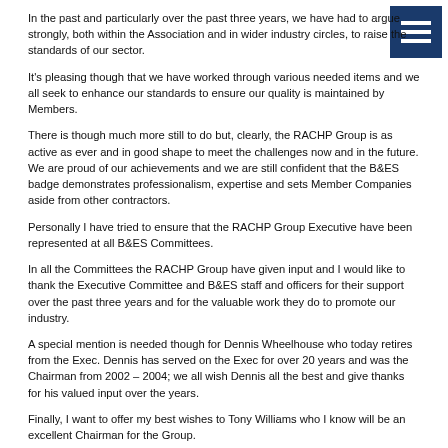In the past and particularly over the past three years, we have had to argue strongly, both within the Association and in wider industry circles, to raise the standards of our sector.
It's pleasing though that we have worked through various needed items and we all seek to enhance our standards to ensure our quality is maintained by Members.
There is though much more still to do but, clearly, the RACHP Group is as active as ever and in good shape to meet the challenges now and in the future. We are proud of our achievements and we are still confident that the B&ES badge demonstrates professionalism, expertise and sets Member Companies aside from other contractors.
Personally I have tried to ensure that the RACHP Group Executive have been represented at all B&ES Committees.
In all the Committees the RACHP Group have given input and I would like to thank the Executive Committee and B&ES staff and officers for their support over the past three years and for the valuable work they do to promote our industry.
A special mention is needed though for Dennis Wheelhouse who today retires from the Exec. Dennis has served on the Exec for over 20 years and was the Chairman from 2002 – 2004; we all wish Dennis all the best and give thanks for his valued input over the years.
Finally, I want to offer my best wishes to Tony Williams who I know will be an excellent Chairman for the Group.
Thank you.